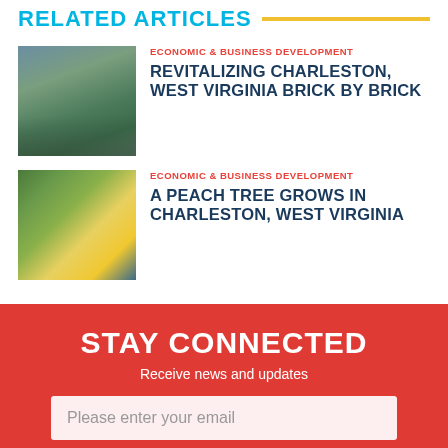RELATED ARTICLES
[Figure (photo): Aerial view of Charleston, West Virginia cityscape with hills and buildings]
ECONOMIC & BUSINESS DEVELOPMENT
REVITALIZING CHARLESTON, WEST VIRGINIA BRICK BY BRICK
[Figure (photo): People gathered around a table at a meeting or workshop, with yellow items on the table]
ECONOMIC & BUSINESS DEVELOPMENT
A PEACH TREE GROWS IN CHARLESTON, WEST VIRGINIA
STAY CONNECTED
Receive news and updates
Please enter your email